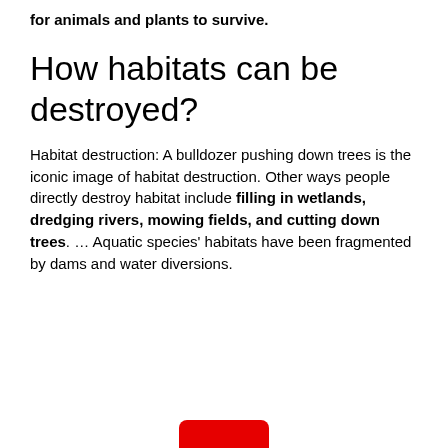for animals and plants to survive.
How habitats can be destroyed?
Habitat destruction: A bulldozer pushing down trees is the iconic image of habitat destruction. Other ways people directly destroy habitat include filling in wetlands, dredging rivers, mowing fields, and cutting down trees. … Aquatic species' habitats have been fragmented by dams and water diversions.